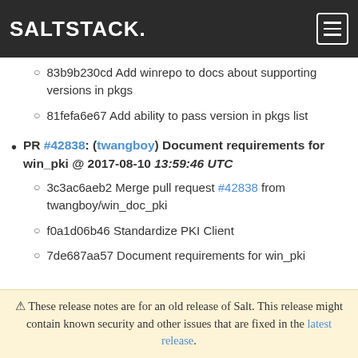SALTSTACK.
83b9b230cd Add winrepo to docs about supporting versions in pkgs
81fefa6e67 Add ability to pass version in pkgs list
PR #42838: (twangboy) Document requirements for win_pki @ 2017-08-10 13:59:46 UTC
3c3ac6aeb2 Merge pull request #42838 from twangboy/win_doc_pki
f0a1d06b46 Standardize PKI Client
7de687aa57 Document requirements for win_pki
⚠ These release notes are for an old release of Salt. This release might contain known security and other issues that are fixed in the latest release.